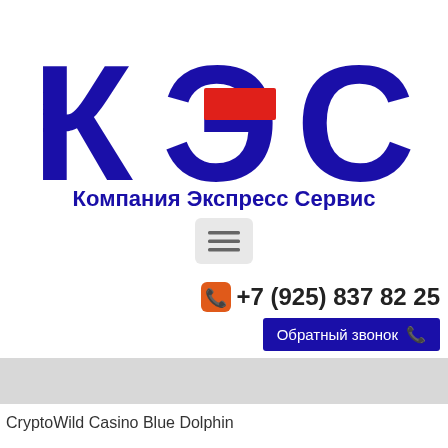[Figure (logo): КЭС logo — large Cyrillic letters К, Э, С in dark navy blue with a red rectangular bar in the center of the Э letter, above the text 'Компания Экспресс Сервис' in bold navy blue]
[Figure (other): Hamburger menu button — three horizontal lines on a light gray rounded rectangle background]
+7 (925) 837 82 25
Обратный звонок
CryptoWild Casino Blue Dolphin